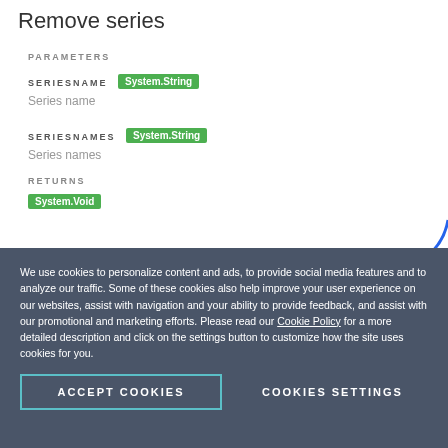Remove series
PARAMETERS
SERIESNAME  System.String
Series name
SERIESNAMES  System.String
Series names
RETURNS
System.Void
We use cookies to personalize content and ads, to provide social media features and to analyze our traffic. Some of these cookies also help improve your user experience on our websites, assist with navigation and your ability to provide feedback, and assist with our promotional and marketing efforts. Please read our Cookie Policy for a more detailed description and click on the settings button to customize how the site uses cookies for you.
ACCEPT COOKIES
COOKIES SETTINGS